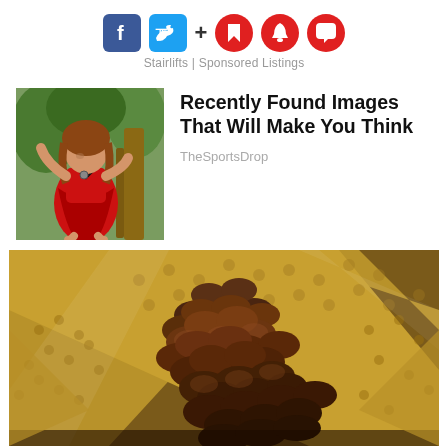[Figure (screenshot): Social media sharing icons: Facebook (blue), Twitter (blue), plus sign, bookmark (red circle), bell (red circle), comment bubble (red circle)]
Stairlifts | Sponsored Listings
[Figure (photo): Woman in red dress posing outdoors near trees]
Recently Found Images That Will Make You Think
TheSportsDrop
[Figure (photo): Close-up photo of chocolate coins or discs in a metallic textured container]